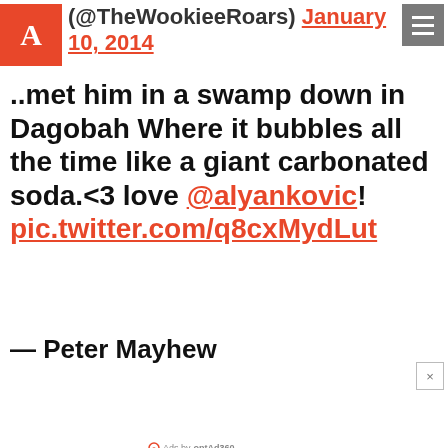(@TheWookieeRoars) January 10, 2014
..met him in a swamp down in Dagobah Where it bubbles all the time like a giant carbonated soda.<3 love @alyankovic! pic.twitter.com/q8cxMydLut
— Peter Mayhew
[Figure (infographic): Advertisement for Royal Uno resort: FLY ME TO PARADISE WITH ALL-INCLUSIVE CANCUN. Website royalunoResort.com, phone 888-721-4453, BOOK NOW button.]